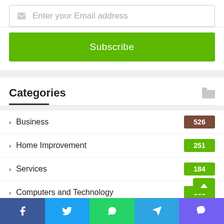Enter your Email address
Subscribe
Categories
Business 526
Home Improvement 251
Services 184
Computers and Technology 163
Technology 152
Health
Health and Fitness 143
Facebook | Twitter | WhatsApp | Telegram | Viber